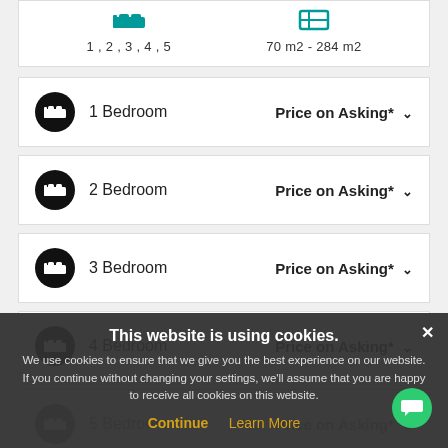1, 2, 3, 4, 5   |   70 m2 - 284 m2
1 Bedroom — Price on Asking*
2 Bedroom — Price on Asking*
3 Bedroom — Price on Asking*
4 Bedroom — Price on Asking*
5 Bedroom — Price on Asking*
This website is using cookies. We use cookies to ensure that we give you the best experience on our website. If you continue without changing your settings, we'll assume that you are happy to receive all cookies on this website. Continue | Learn More